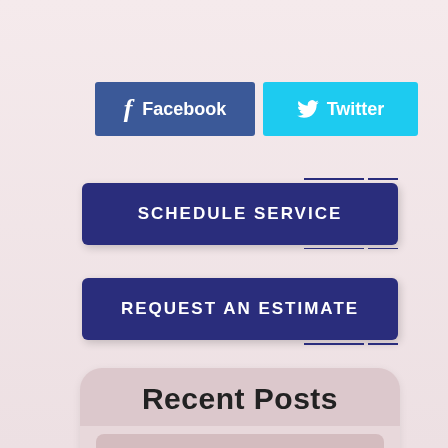[Figure (other): Facebook and Twitter social media buttons side by side. Facebook button is dark blue with 'f' icon and text 'Facebook'. Twitter button is light blue with bird icon and text 'Twitter'.]
SCHEDULE SERVICE
REQUEST AN ESTIMATE
Recent Posts